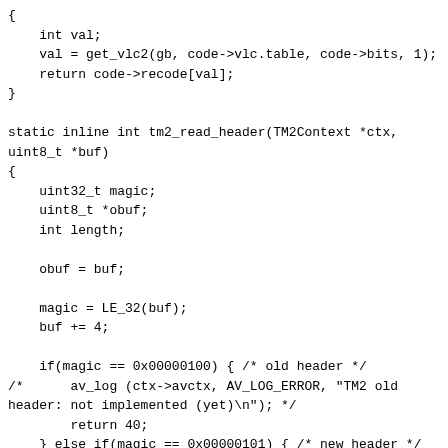{
    int val;
    val = get_vlc2(gb, code->vlc.table, code->bits, 1);
    return code->recode[val];
}

static inline int tm2_read_header(TM2Context *ctx,
uint8_t *buf)
{
    uint32_t magic;
    uint8_t *obuf;
    int length;

    obuf = buf;

    magic = LE_32(buf);
    buf += 4;

    if(magic == 0x00000100) { /* old header */
/*      av_log (ctx->avctx, AV_LOG_ERROR, "TM2 old
header: not implemented (yet)\n"); */
        return 40;
    } else if(magic == 0x00000101) { /* new header */
        int w, h, size, flags, xr, yr;

        length = LE_32(buf);
        buf += 4;

        init_get_bits(&ctx->gb, buf, 32);
        size = get_bits_long(&ctx->gb, 31);
        h = get_bits(&ctx->gb, 15);